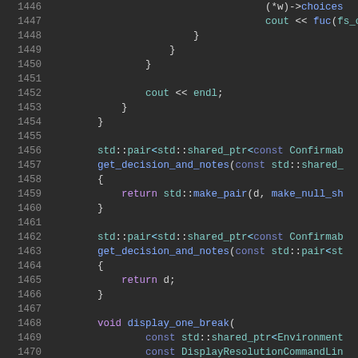[Figure (screenshot): Code editor screenshot showing C++ source code lines 1446-1473 with dark theme. Code includes closing braces, cout statements, std::pair function declarations (get_decision_and_notes), return statements, and void display_one_break function with parameters.]